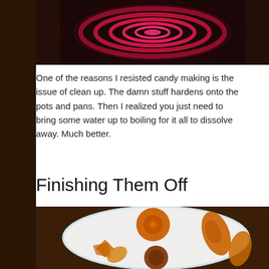[Figure (photo): Top portion of a photo showing a dark background with glowing reddish-pink circular rings or coils, likely a candy-making process or heated element.]
One of the reasons I resisted candy making is the issue of clean up. The damn stuff hardens onto the pots and pans. Then I realized you just need to bring some water up to boiling for it all to dissolve away. Much better.
Finishing Them Off
[Figure (photo): Photo of amber/orange colored hard candies in various shapes (spiral, claw, teardrop) placed on a white plate on a dark wooden surface.]